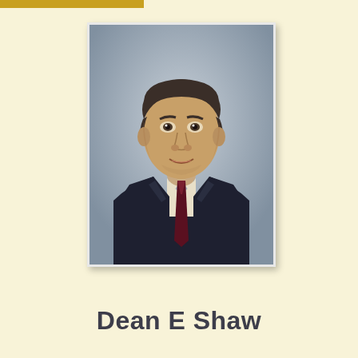[Figure (photo): Professional headshot of Dean E Shaw, a middle-aged man with dark hair wearing a dark suit jacket, white dress shirt, and dark red/burgundy patterned tie, photographed against a gray mottled background.]
Dean E Shaw